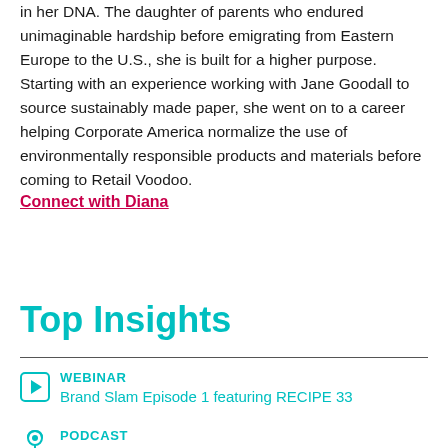in her DNA. The daughter of parents who endured unimaginable hardship before emigrating from Eastern Europe to the U.S., she is built for a higher purpose. Starting with an experience working with Jane Goodall to source sustainably made paper, she went on to a career helping Corporate America normalize the use of environmentally responsible products and materials before coming to Retail Voodoo.
Connect with Diana
Top Insights
WEBINAR — Brand Slam Episode 1 featuring RECIPE 33
PODCAST